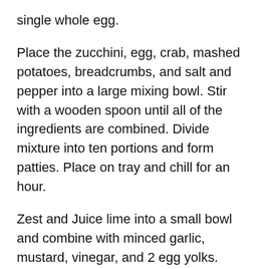single whole egg.
Place the zucchini, egg, crab, mashed potatoes, breadcrumbs, and salt and pepper into a large mixing bowl. Stir with a wooden spoon until all of the ingredients are combined. Divide mixture into ten portions and form patties. Place on tray and chill for an hour.
Zest and Juice lime into a small bowl and combine with minced garlic, mustard, vinegar, and 2 egg yolks. Drizzle 1/2 cup of olive oil into the mixture slowly while whisking. Add salt and pepper to taste.
Dredge crab cakes in flour and fry them in a pan with olive oil, set on medium high. Cook for 3 minutes on each side or until golden brown. Serve with lime sauce over top or for